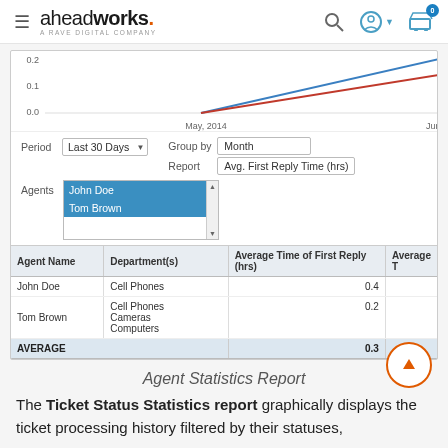aheadworks. A RAVE DIGITAL COMPANY
[Figure (line-chart): Partial line chart showing two lines (blue and red/orange) trending upward from May 2014 toward June. Y-axis shows values 0.0, 0.1, 0.2. X-axis shows May, 2014 and June.]
| Agent Name | Department(s) | Average Time of First Reply (hrs) | Average T |
| --- | --- | --- | --- |
| John Doe | Cell Phones | 0.4 |  |
| Tom Brown | Cell Phones
Cameras
Computers | 0.2 |  |
| AVERAGE |  | 0.3 |  |
Agent Statistics Report
The Ticket Status Statistics report graphically displays the ticket processing history filtered by their statuses,